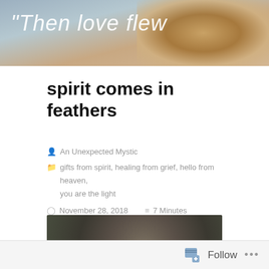[Figure (photo): Blog header banner image with text 'Then love flew' overlaid on a background showing a bird with brown/tan feathers]
spirit comes in feathers
An Unexpected Mystic
gifts from spirit, healing from grief, hello from heaven, you are the light
November 28, 2018   7 Minutes
[Figure (photo): Close-up photo of the back of a bird's head showing dark feathers, against a blurred green/brown bokeh background]
Follow   ...